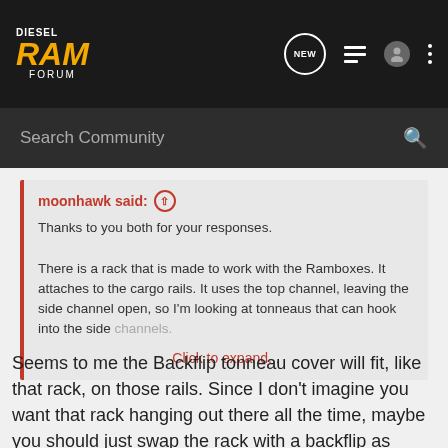DIESEL RAM FORUM
Search Community
moonhawk said: ↑
Thanks to you both for your responses.

There is a rack that is made to work with the Ramboxes. It attaches to the cargo rails. It uses the top channel, leaving the side channel open, so I'm looking at tonneaus that can hook into the side channels.

Click to expand...
Seems to me the Backflip tonneau cover will fit, like that rack, on those rails. Since I don't imagine you want that rack hanging out there all the time, maybe you should just swap the rack with a backflip as needed???